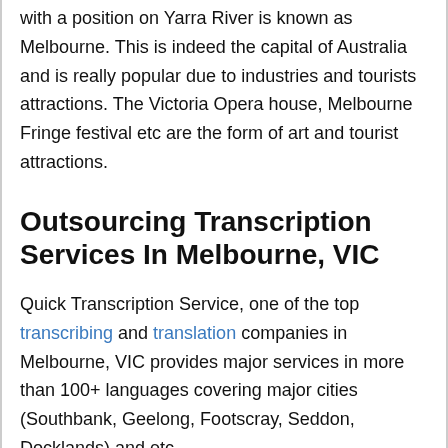with a position on Yarra River is known as Melbourne. This is indeed the capital of Australia and is really popular due to industries and tourists attractions. The Victoria Opera house, Melbourne Fringe festival etc are the form of art and tourist attractions.
Outsourcing Transcription Services In Melbourne, VIC
Quick Transcription Service, one of the top transcribing and translation companies in Melbourne, VIC provides major services in more than 100+ languages covering major cities (Southbank, Geelong, Footscray, Seddon, Docklands) and etc.
More Transcription Services like Marine...